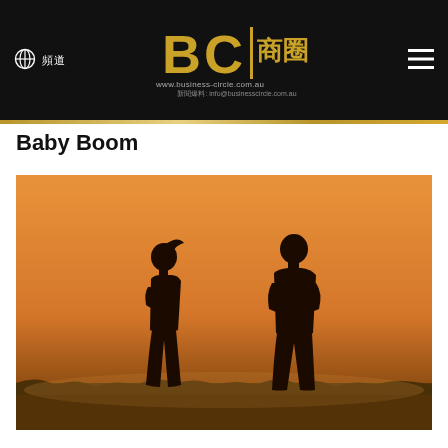BC 商圈 | www.business-circle.com.au | 新聞爆料: info@businesscircle.com.au
Baby Boom
[Figure (photo): Two silhouettes of a man and woman standing back-to-back in a field against an orange sunset sky]